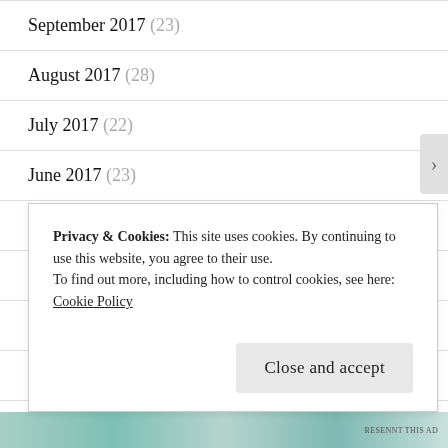September 2017 (23)
August 2017 (28)
July 2017 (22)
June 2017 (23)
May 2017 (23)
April 2017 (20)
March 2017 (23)
February 2017 (19)
Privacy & Cookies: This site uses cookies. By continuing to use this website, you agree to their use.
To find out more, including how to control cookies, see here:
Cookie Policy
Close and accept